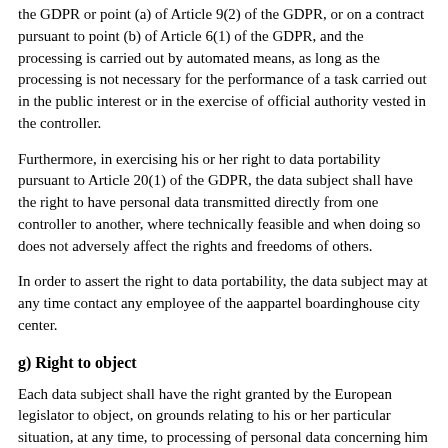the GDPR or point (a) of Article 9(2) of the GDPR, or on a contract pursuant to point (b) of Article 6(1) of the GDPR, and the processing is carried out by automated means, as long as the processing is not necessary for the performance of a task carried out in the public interest or in the exercise of official authority vested in the controller.
Furthermore, in exercising his or her right to data portability pursuant to Article 20(1) of the GDPR, the data subject shall have the right to have personal data transmitted directly from one controller to another, where technically feasible and when doing so does not adversely affect the rights and freedoms of others.
In order to assert the right to data portability, the data subject may at any time contact any employee of the aappartel boardinghouse city center.
g) Right to object
Each data subject shall have the right granted by the European legislator to object, on grounds relating to his or her particular situation, at any time, to processing of personal data concerning him or her, which is based on point (e) or (f) of Article 6(1) of the GDPR. This also applies to